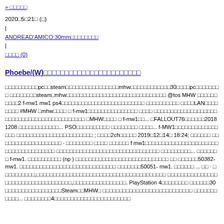» □□□□□
2020□5□21□ (□)
|
ANDREAD'AMICO:30mm□□□□□□□□
|
□□□□ (0)
Phoebe/(W)□□□□□□□□□□□□□□□□□□□□□□□
□□□□□□□□□□pc□□steam□□□□□□□□□□□□□□□□mhw□□□□□□□□□□□□30□□□□pc□□□□□□□□□□□□□□□steam□mhw□□□□□□□□□□□□□□□□□□□□□□□□□□□□□□ @tos MHW □□□□□□□□□□2 f-mw1 mw1 ps4□□□□□□□□□□□□□□□□□□□□□□□□□ □□□□□□□□□□□LAN□□□□□□□□ #MHW □mhw□□□□ □ f-mw1□□□□□□□□□□□□□□□ □□□□ □□□□□□□□□□□□□□□□□□□□□□□□□□□□□□□□□□□□□□□□□□ □MHW□□□□ □ f-mw1□□... □FALLOUT76□□□□□□20181208 □□□□□□□□□□□□... PSO□□□□□□□□□□ □□□□□□□□ □□□□... f-MW1□□□□□□□□□□□□□□□□ □□□□□□□□□□□□□□□□□□□□□□□ ; □□□□2ch□□□□□ 2019□12□14□ 18:24; □□□□□□ □□□□□□□□□□□□□□□□□□□ · □□□□□□□□ □□□□ □□□□□□ f mw1□□□□□□□□□□□□□□□□□□□□□□□□□□□□□□□□□□□□□ □□□□□□□□□□□□□□□□□□□□□□□□□□□□□□□ □□□□□□□□□... □□□□□□□ f-mw1. □□□□□□□□□□ (np ) □□□□□□□□□□□□□□□□□□□□□□□□□□□□ □□ □□□□□□50382-mw1. □□□□□□□□□□□□□□□□□□□□□□□□□□□□□ □□□□□□□50051-mw1. □□□□□□ ... □□ · □□□□□□□□□□,□□□□□□□□□□□□□□□□□□□□□□□□□□□□□□□□□□□□□□□ □□□□□□□□□□□□□□□□□□□□□□□□□□□□□□□□□□□,□□□□□□□□□□□□□□□□. PlayStation 4□□□□□□□□ □□□□□□30□□□□□□□□□□□□□□□□□Steam□□MHW□ □□□□□□□□□□□□□□□□□□□□□□□□□□□ □□□□□□□□□□□... □□□□□□□□4□□□□□□□□□□□□□□□□□□□□□□□